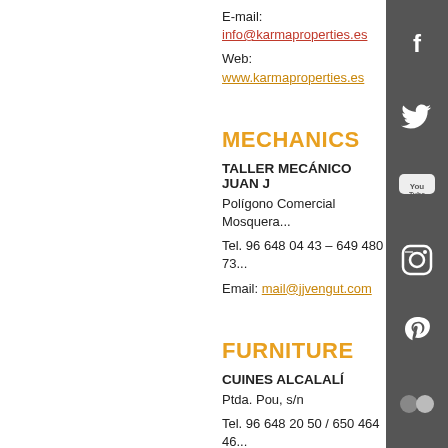E-mail: info@karmaproperties.es
Web: www.karmaproperties.es
MECHANICS
TALLER MECÁNICO JUAN J...
Polígono Comercial Mosquera...
Tel. 96 648 04 43 – 649 480 73...
Email: mail@jjvengut.com
FURNITURE
CUINES ALCALALÍ
Ptda. Pou, s/n
Tel. 96 648 20 50 / 650 464 46...
E-mail: cuinesalcalali@hotmail...
HAIR AND BEAUTY
BLUSH